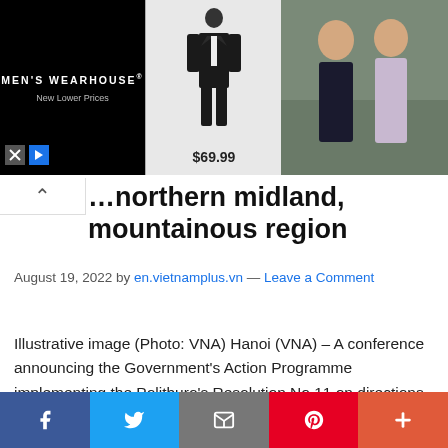[Figure (photo): Men's Wearhouse advertisement banner showing a suit for $69.99 and a couple in formal wear]
…northern midland, mountainous region
August 19, 2022 by en.vietnamplus.vn — Leave a Comment
Illustrative image (Photo: VNA) Hanoi (VNA) – A conference announcing the Government's Action Programme implementing the Politburo's Resolution No.11 on directions to intensify socio-economic development and ensure national defence and security in the northern midland and
[Figure (other): Social media share bar with Facebook, Twitter, email, Pinterest, and more buttons]